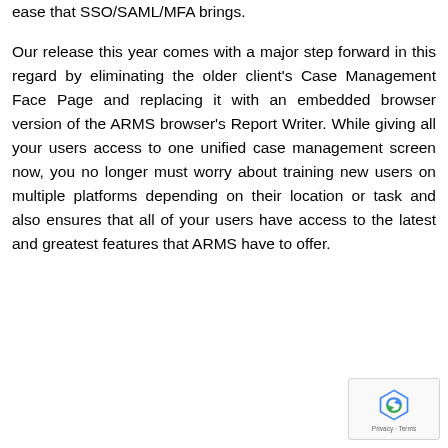ease that SSO/SAML/MFA brings.
Our release this year comes with a major step forward in this regard by eliminating the older client's Case Management Face Page and replacing it with an embedded browser version of the ARMS browser's Report Writer. While giving all your users access to one unified case management screen now, you no longer must worry about training new users on multiple platforms depending on their location or task and also ensures that all of your users have access to the latest and greatest features that ARMS have to offer.